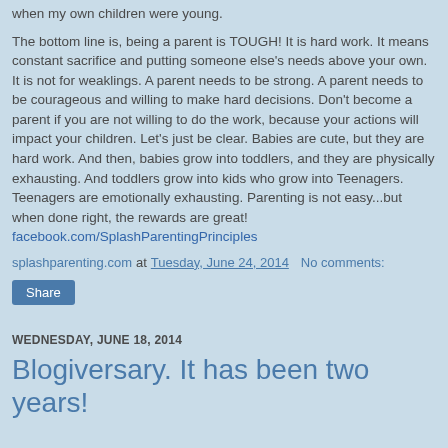when my own children were young.
The bottom line is, being a parent is TOUGH!  It is hard work.  It means constant sacrifice and putting someone else's needs above your own.  It is not for weaklings.  A parent needs to be strong.  A parent needs to be courageous and willing to make hard decisions.  Don't become a parent if you are not willing to do the work, because your actions will impact your children.  Let's just be clear.  Babies are cute, but they are hard work.  And then, babies grow into toddlers, and they are physically exhausting.  And toddlers grow into kids who grow into Teenagers.  Teenagers are emotionally exhausting.  Parenting is not easy...but when done right, the rewards are great!
facebook.com/SplashParentingPrinciples
splashparenting.com at Tuesday, June 24, 2014    No comments:
Share
WEDNESDAY, JUNE 18, 2014
Blogiversary. It has been two years!